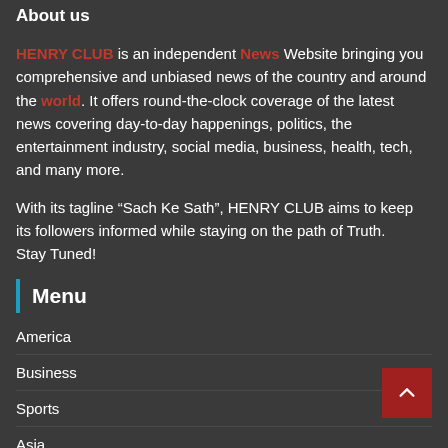About us
HENRY CLUB is an independent News Website bringing you comprehensive and unbiased news of the country and around the world. It offers round-the-clock coverage of the latest news covering day-to-day happenings, politics, the entertainment industry, social media, business, health, tech, and many more.
With its tagline “Sach Ke Sath”, HENRY CLUB aims to keep its followers informed while staying on the path of Truth. Stay Tuned!
Menu
America
Business
Sports
Asia